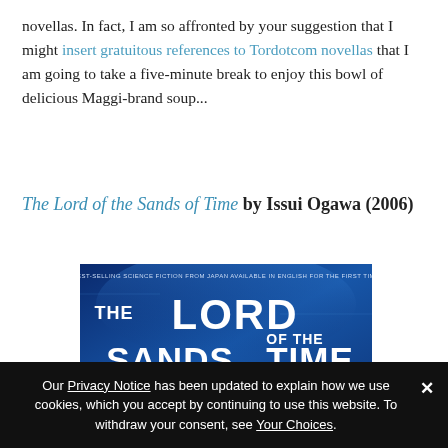novellas. In fact, I am so affronted by your suggestion that I might insert gratuitous references to Tordotcom novellas that I am going to take a five-minute break to enjoy this bowl of delicious Maggi-brand soup...
The Lord of the Sands of Time by Issui Ogawa (2006)
[Figure (photo): Book cover for 'The Lord of the Sands of Time' by Issui Ogawa — blue sci-fi themed cover with large stylized white text reading THE LORD OF THE SANDS OF TIME and author name ISSUI OGAWA at the bottom. Top text reads: BEST-SELLING SCIENCE FICTION FROM JAPAN AVAILABLE IN ENGLISH FOR THE FIRST TIME.]
Our Privacy Notice has been updated to explain how we use cookies, which you accept by continuing to use this website. To withdraw your consent, see Your Choices.